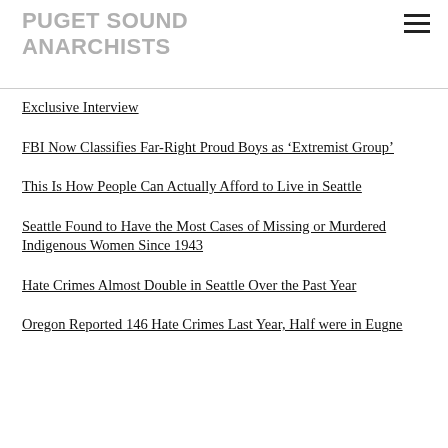PUGET SOUND ANARCHISTS
Exclusive Interview
FBI Now Classifies Far-Right Proud Boys as ‘Extremist Group’
This Is How People Can Actually Afford to Live in Seattle
Seattle Found to Have the Most Cases of Missing or Murdered Indigenous Women Since 1943
Hate Crimes Almost Double in Seattle Over the Past Year
Oregon Reported 146 Hate Crimes Last Year, Half were in Eugne